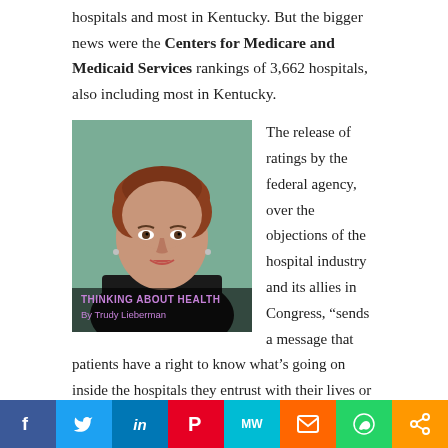Hospital Rankings have been making news. Most recently, U.S. News and World Report ranked more than 5,000 U.S. hospitals and most in Kentucky. But the bigger news were the Centers for Medicare and Medicaid Services rankings of 3,662 hospitals, also including most in Kentucky.
[Figure (photo): Portrait photo of Trudy Lieberman with overlay caption 'THINKING ABOUT HEALTH By Trudy Lieberman']
The release of ratings by the federal agency, over the objections of the hospital industry and its allies in Congress, “sends a message that patients have a right to know what’s going on inside the hospitals they entrust with their lives or those of their family members,” Trudy Lieberman says in her latest “Thinking
f  🐦  in  P  MW  m  WhatsApp  share